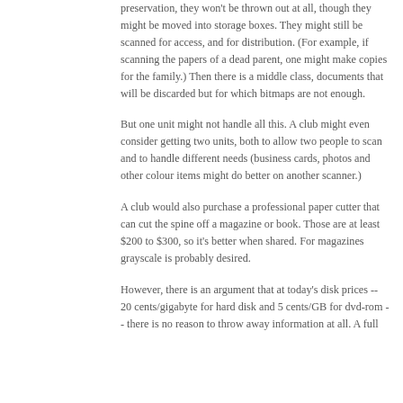preservation, they won't be thrown out at all, though they might be moved into storage boxes. They might still be scanned for access, and for distribution. (For example, if scanning the papers of a dead parent, one might make copies for the family.) Then there is a middle class, documents that will be discarded but for which bitmaps are not enough.
But one unit might not handle all this. A club might even consider getting two units, both to allow two people to scan and to handle different needs (business cards, photos and other colour items might do better on another scanner.)
A club would also purchase a professional paper cutter that can cut the spine off a magazine or book. Those are at least $200 to $300, so it's better when shared. For magazines grayscale is probably desired.
However, there is an argument that at today's disk prices -- 20 cents/gigabyte for hard disk and 5 cents/GB for dvd-rom -- there is no reason to throw away information at all. A full